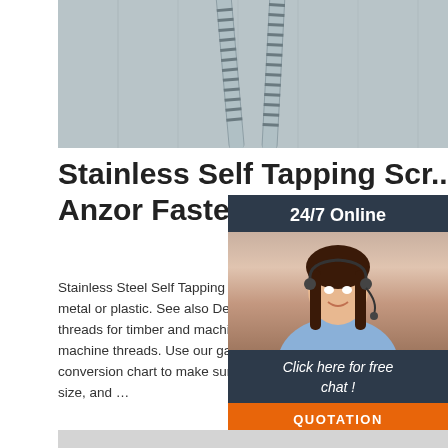[Figure (photo): Photo of stainless steel self-tapping screws close-up on a gray/steel surface]
Stainless Self Tapping Scr... Anzor Fasteners Australia
Stainless Steel Self Tapping screws are used... metal or plastic. See also Decking screws fo... threads for timber and machine screws for m... machine threads. Use our gauge to millimet... conversion chart to make sure you have the... size, and …
[Figure (photo): 24/7 Online chat widget with a woman wearing a headset, with 'Click here for free chat!' text and a QUOTATION button]
[Figure (screenshot): Get Price orange button]
[Figure (other): Bottom gray bar/banner]